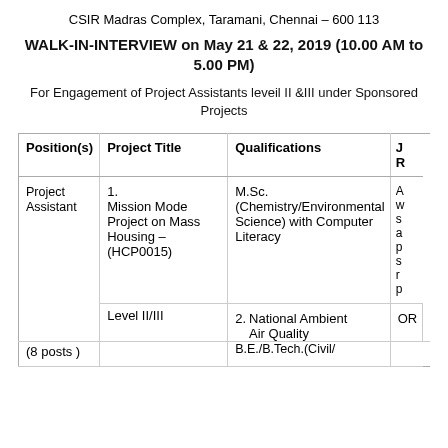CSIR Madras Complex, Taramani, Chennai – 600 113
WALK-IN-INTERVIEW on May 21 & 22, 2019 (10.00 AM to 5.00 PM)
For Engagement of Project Assistants leveil II &III under Sponsored Projects
| Position(s) | Project Title | Qualifications | J R |
| --- | --- | --- | --- |
| Project Assistant
Level II/III
(8 posts ) | 1. Mission Mode Project on Mass Housing – (HCP0015)
2. National Ambient Air Quality | M.Sc. (Chemistry/Environmental Science) with Computer Literacy
OR
B.E./B.Tech.(Civil/... | A w s a p s r p |